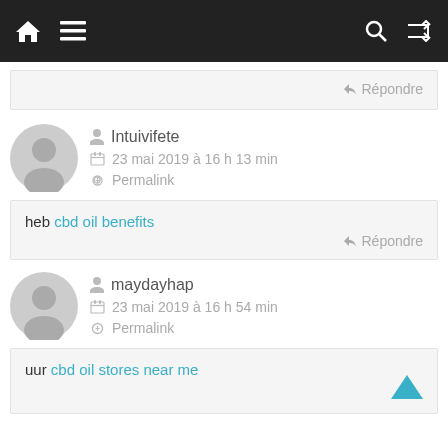Navigation bar with home, menu, search, and shuffle icons
Répondre
Intuivifete
23 mai 2019 à 16 h 13 min
Permalink
heb cbd oil benefits
Répondre
maydayhap
23 mai 2019 à 16 h 54 min
Permalink
uur cbd oil stores near me